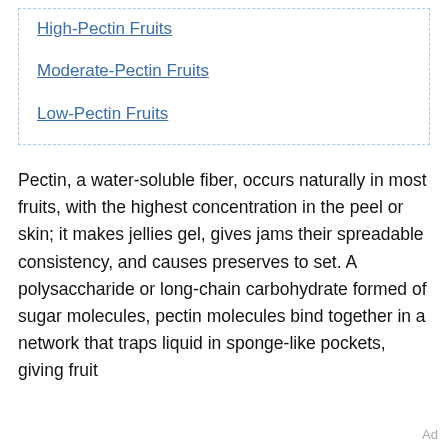High-Pectin Fruits
Moderate-Pectin Fruits
Low-Pectin Fruits
Pectin, a water-soluble fiber, occurs naturally in most fruits, with the highest concentration in the peel or skin; it makes jellies gel, gives jams their spreadable consistency, and causes preserves to set. A polysaccharide or long-chain carbohydrate formed of sugar molecules, pectin molecules bind together in a network that traps liquid in sponge-like pockets, giving fruit